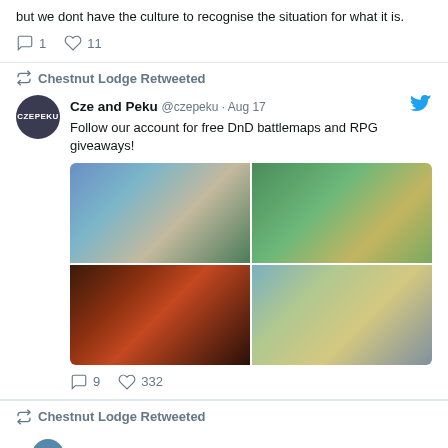but we dont have the culture to recognise the situation for what it is.
1  11
Chestnut Lodge Retweeted
Cze and Peku @czepeku · Aug 17
Follow our account for free DnD battlemaps and RPG giveaways!
[Figure (photo): 2x2 grid of four DnD fantasy battlemaps: top-left snowy/blue map, top-right tropical/green map, bottom-left dark dungeon/fire map, bottom-right island/estate map]
9  332
Chestnut Lodge Retweeted